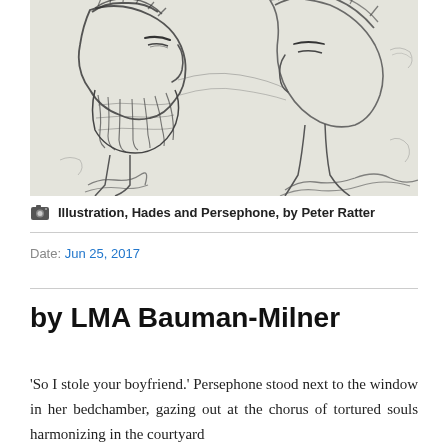[Figure (illustration): Pencil sketch illustration showing two figures — a bearded man in profile on the left facing right, and a second figure partially visible on the right. The drawing style is loose, expressive line art. Labeled as 'Hades and Persephone' by Peter Ratter.]
Illustration, Hades and Persephone, by Peter Ratter
Date: Jun 25, 2017
by LMA Bauman-Milner
'So I stole your boyfriend.' Persephone stood next to the window in her bedchamber, gazing out at the chorus of tortured souls harmonizing in the courtyard